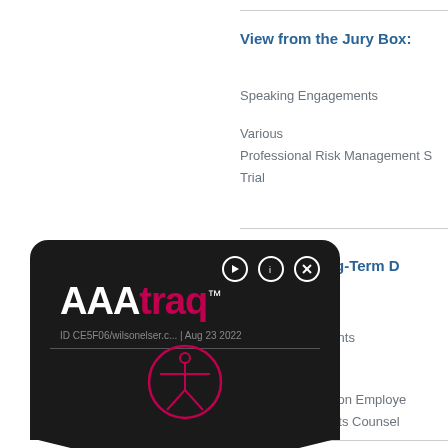View from the Jury Box:
Speaking Engagements
Various
Professional Risk Management S
Trial
[Figure (logo): AAAtraq accessibility tracking badge overlay with logo, ID CE5F06/wilsonelser.c... | Aug 23 2022, and accessibility figure icon]
gation of Long-Term D
ministration
aking Engagements
15, 2015
Joint Committee on Employe
Employee Benefits Counsel